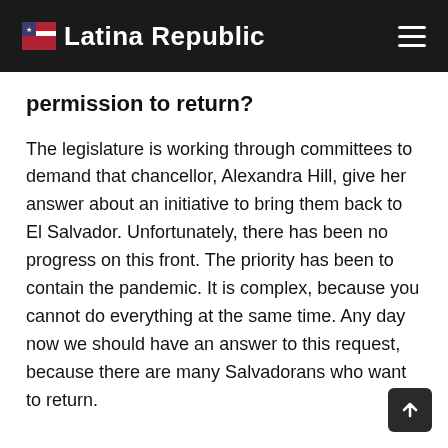Latina Republic
permission to return?
The legislature is working through committees to demand that chancellor, Alexandra Hill, give her answer about an initiative to bring them back to El Salvador. Unfortunately, there has been no progress on this front. The priority has been to contain the pandemic. It is complex, because you cannot do everything at the same time. Any day now we should have an answer to this request, because there are many Salvadorans who want to return.